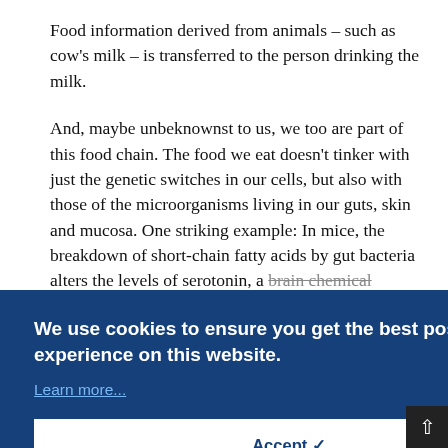Food information derived from animals – such as cow's milk – is transferred to the person drinking the milk.
And, maybe unbeknownst to us, we too are part of this food chain. The food we eat doesn't tinker with just the genetic switches in our cells, but also with those of the microorganisms living in our guts, skin and mucosa. One striking example: In mice, the breakdown of short-chain fatty acids by gut bacteria alters the levels of serotonin, a brain chemical messenger that regulates mood, anxiety
[Figure (screenshot): Cookie consent banner overlay with dark blue background. Text reads: 'We use cookies to ensure you get the best possible experience on this website.' with a 'Learn more...' link and an 'Accept ✔' button.]
...are ...by deficiencies of this nutrient. But some scientists